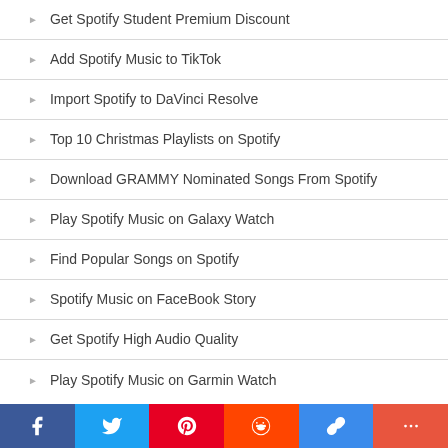Get Spotify Student Premium Discount
Add Spotify Music to TikTok
Import Spotify to DaVinci Resolve
Top 10 Christmas Playlists on Spotify
Download GRAMMY Nominated Songs From Spotify
Play Spotify Music on Galaxy Watch
Find Popular Songs on Spotify
Spotify Music on FaceBook Story
Get Spotify High Audio Quality
Play Spotify Music on Garmin Watch